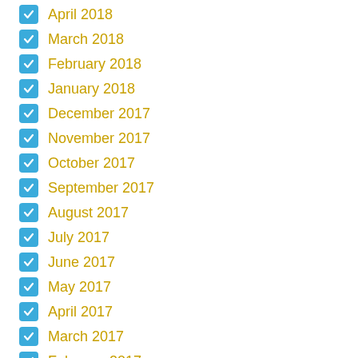April 2018
March 2018
February 2018
January 2018
December 2017
November 2017
October 2017
September 2017
August 2017
July 2017
June 2017
May 2017
April 2017
March 2017
February 2017
January 2017
December 2016